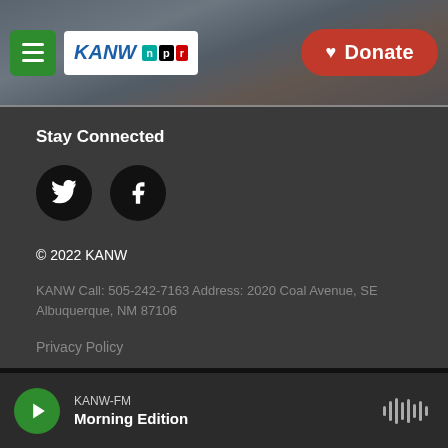[Figure (screenshot): KANW NPR radio station website header with hamburger menu (green), KANW NPR logo, and red Donate button with heart icon. Background shows mountain landscape.]
Stay Connected
[Figure (illustration): Two circular social media icons: Twitter (bird) and Facebook (f) on black circles]
© 2022 KANW
KANW Call: 505-242-7163 Address: 2020 Coal Avenue, SE Albuquerque, NM 87106
Privacy Policy
Public Files
KANW-FM
Morning Edition